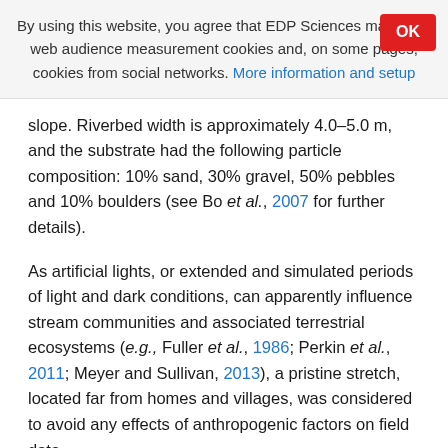By using this website, you agree that EDP Sciences may store web audience measurement cookies and, on some pages, cookies from social networks. More information and setup
slope. Riverbed width is approximately 4.0–5.0 m, and the substrate had the following particle composition: 10% sand, 30% gravel, 50% pebbles and 10% boulders (see Bo et al., 2007 for further details).
As artificial lights, or extended and simulated periods of light and dark conditions, can apparently influence stream communities and associated terrestrial ecosystems (e.g., Fuller et al., 1986; Perkin et al., 2011; Meyer and Sullivan, 2013), a pristine stretch, located far from homes and villages, was considered to avoid any effects of anthropogenic factors on field data.
[Figure (illustration): Partial illustration of a fish (stone loach or similar) appearing at the bottom of the page]